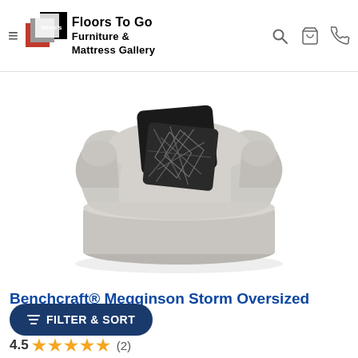Neve's Floors To Go Furniture & Mattress Gallery — navigation header with hamburger menu, search, cart, and phone icons
[Figure (photo): Benchcraft Megginson Storm Oversized round swivel chair in light grey fabric with two decorative throw pillows — one black solid, one black and grey geometric pattern]
Benchcraft® Megginson Storm Oversized Chair
FILTER & SORT button overlay
4.5 ★★★★½ (2)